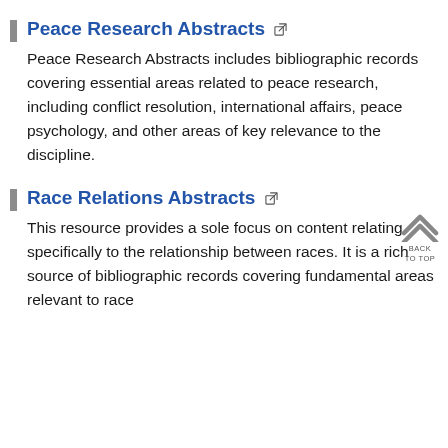Peace Research Abstracts
Peace Research Abstracts includes bibliographic records covering essential areas related to peace research, including conflict resolution, international affairs, peace psychology, and other areas of key relevance to the discipline.
Race Relations Abstracts
This resource provides a sole focus on content relating specifically to the relationship between races. It is a rich source of bibliographic records covering fundamental areas relevant to race